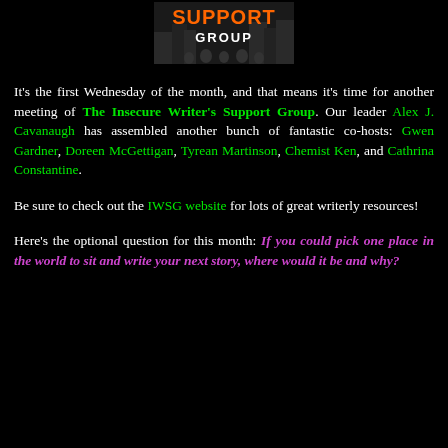[Figure (logo): Insecure Writer's Support Group logo with orange and white text on dark background with building imagery]
It's the first Wednesday of the month, and that means it's time for another meeting of The Insecure Writer's Support Group. Our leader Alex J. Cavanaugh has assembled another bunch of fantastic co-hosts: Gwen Gardner, Doreen McGettigan, Tyrean Martinson, Chemist Ken, and Cathrina Constantine.
Be sure to check out the IWSG website for lots of great writerly resources!
Here's the optional question for this month: If you could pick one place in the world to sit and write your next story, where would it be and why?